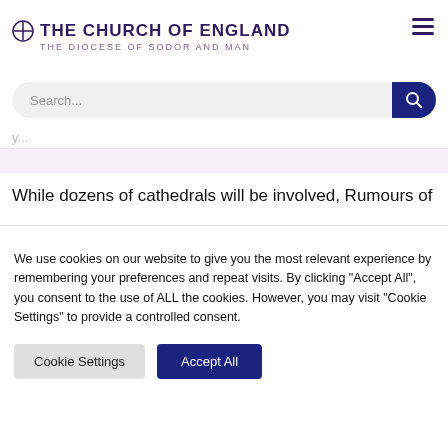THE CHURCH OF ENGLAND — THE DIOCESE OF SODOR AND MAN
Search...
While dozens of cathedrals will be involved, Rumours of
We use cookies on our website to give you the most relevant experience by remembering your preferences and repeat visits. By clicking "Accept All", you consent to the use of ALL the cookies. However, you may visit "Cookie Settings" to provide a controlled consent.
Cookie Settings
Accept All